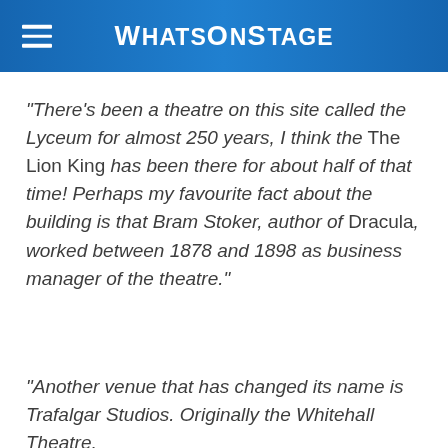WhatsOnStage
"There's been a theatre on this site called the Lyceum for almost 250 years, I think the The Lion King has been there for about half of that time! Perhaps my favourite fact about the building is that Bram Stoker, author of Dracula, worked between 1878 and 1898 as business manager of the theatre."
"Another venue that has changed its name is Trafalgar Studios. Originally the Whitehall Theatre,